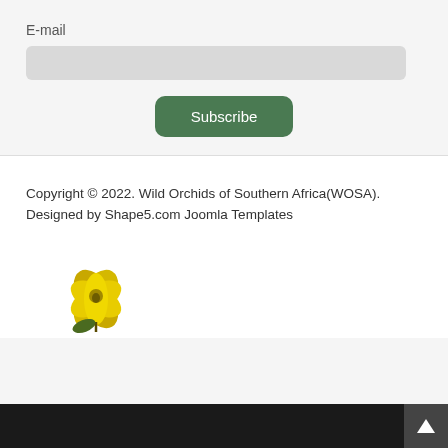E-mail
Subscribe
Copyright © 2022. Wild Orchids of Southern Africa(WOSA). Designed by Shape5.com Joomla Templates
[Figure (logo): Wild Orchids of Southern Africa logo — stylized orchid flower in gold/yellow tones]
Back to top arrow button